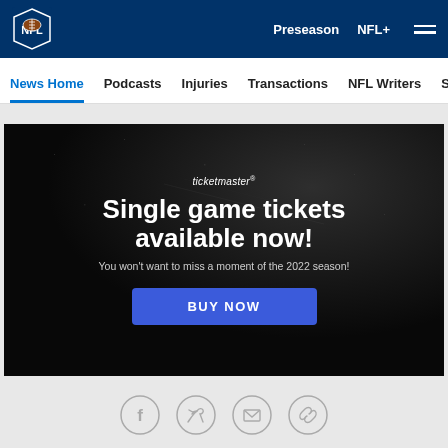NFL navigation bar with logo, Preseason, NFL+, and hamburger menu
News Home  Podcasts  Injuries  Transactions  NFL Writers  Se
[Figure (other): Ticketmaster advertisement banner with dark textured background. Text: 'ticketmaster*', 'Single game tickets available now!', 'You won't want to miss a moment of the 2022 season!', and a blue BUY NOW button.]
[Figure (other): Social sharing icons row: Facebook, Twitter, Email, Link/copy icon — all gray circles with outline icons.]